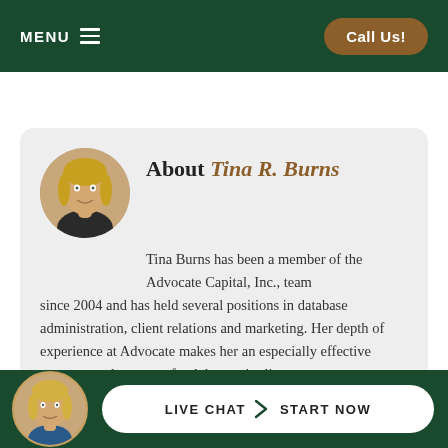MENU  |  Call Us!
[Figure (photo): Circular headshot of Tina R. Burns, a woman with blonde hair smiling]
About Tina R. Burns
Tina Burns has been a member of the Advocate Capital, Inc., team since 2004 and has held several positions in database administration, client relations and marketing. Her depth of experience at Advocate makes her an especially effective manager and resource for Advocate's clients.
[Figure (photo): Circular headshot of a woman with blonde hair in the bottom bar]
LIVE CHAT  START NOW